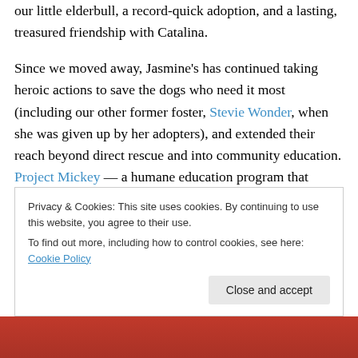our little elderbull, a record-quick adoption, and a lasting, treasured friendship with Catalina.
Since we moved away, Jasmine's has continued taking heroic actions to save the dogs who need it most (including our other former foster, Stevie Wonder, when she was given up by her adopters), and extended their reach beyond direct rescue and into community education. Project Mickey — a humane education program that brings Jasmine's House dogs into inner city Baltimore schools to teach lessons about kindness to animals and each other — stands out as a particularly needed and
Privacy & Cookies: This site uses cookies. By continuing to use this website, you agree to their use.
To find out more, including how to control cookies, see here: Cookie Policy
Close and accept
[Figure (photo): Bottom strip showing partial photo of people/children in colorful clothing]